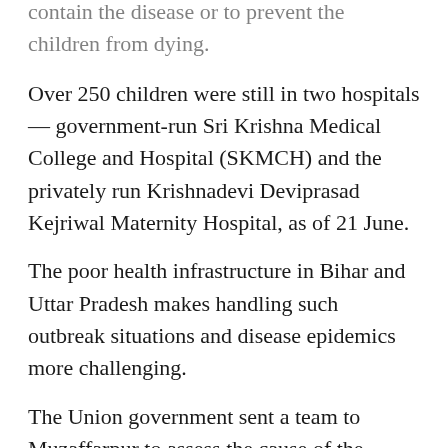contain the disease or to prevent the children from dying.
Over 250 children were still in two hospitals — government-run Sri Krishna Medical College and Hospital (SKMCH) and the privately run Krishnadevi Deviprasad Kejriwal Maternity Hospital, as of 21 June.
The poor health infrastructure in Bihar and Uttar Pradesh makes handling such outbreak situations and disease epidemics more challenging.
The Union government sent a team to Muzaffarpur to assess the cause of the deaths and advised the hospital to set up a research wing and preserve serum samples for rechecking, following the visit of the health minister.
All precautionary measures, such as cleanliness and